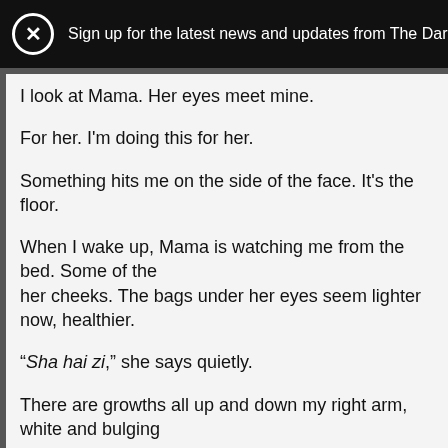Sign up for the latest news and updates from The Dark
I look at Mama. Her eyes meet mine.
For her. I'm doing this for her.
Something hits me on the side of the face. It's the floor.
When I wake up, Mama is watching me from the bed. Some of the her cheeks. The bags under her eyes seem lighter now, healthier.
“Sha hai zi,” she says quietly.
There are growths all up and down my right arm, white and bulging arm.
I open my mouth to speak, but at first only a low rasp comes out. “W manage to croak.
“At H-Mart. She still thinks we need more ginger root.”